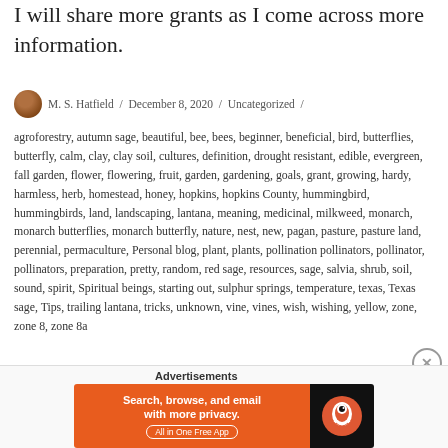I will share more grants as I come across more information.
M. S. Hatfield / December 8, 2020 / Uncategorized / agroforestry, autumn sage, beautiful, bee, bees, beginner, beneficial, bird, butterflies, butterfly, calm, clay, clay soil, cultures, definition, drought resistant, edible, evergreen, fall garden, flower, flowering, fruit, garden, gardening, goals, grant, growing, hardy, harmless, herb, homestead, honey, hopkins, hopkins County, hummingbird, hummingbirds, land, landscaping, lantana, meaning, medicinal, milkweed, monarch, monarch butterflies, monarch butterfly, nature, nest, new, pagan, pasture, pasture land, perennial, permaculture, Personal blog, plant, plants, pollination pollinators, pollinator, pollinators, preparation, pretty, random, red sage, resources, sage, salvia, shrub, soil, sound, spirit, Spiritual beings, starting out, sulphur springs, temperature, texas, Texas sage, Tips, trailing lantana, tricks, unknown, vine, vines, wish, wishing, yellow, zone, zone 8, zone 8a
[Figure (infographic): DuckDuckGo advertisement banner: 'Search, browse, and email with more privacy. All in One Free App' with DuckDuckGo logo on dark background.]